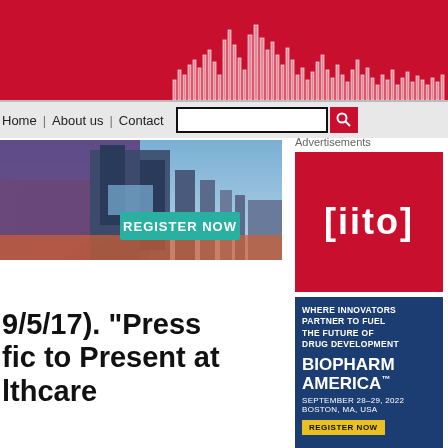Home | About us | Contact
[Figure (photo): City skyline with modern buildings and blue sky, with a teal REGISTER NOW button overlay]
9/5/17). "Press fic to Present at lthcare
[Figure (logo): [iito] logo in white text on red background]
[Figure (infographic): BioPharm America advertisement - WHERE INNOVATORS PARTNER TO FUEL THE FUTURE OF DRUG DEVELOPMENT. BIOPHARM AMERICA. SEPTEMBER 28-29, 2022 BOSTON, MA, USA. REGISTER NOW.]
Advertisements